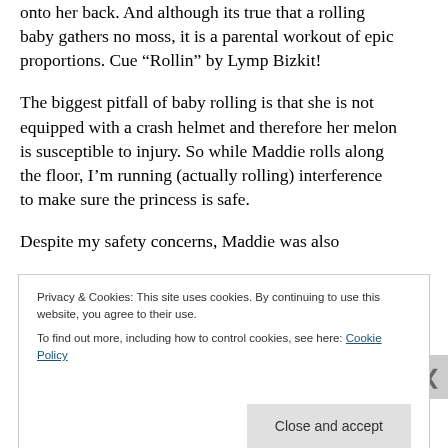onto her back. And although its true that a rolling baby gathers no moss, it is a parental workout of epic proportions. Cue “Rollin” by Lymp Bizkit!
The biggest pitfall of baby rolling is that she is not equipped with a crash helmet and therefore her melon is susceptible to injury. So while Maddie rolls along the floor, I’m running (actually rolling) interference to make sure the princess is safe.
Despite my safety concerns, Maddie was also
Privacy & Cookies: This site uses cookies. By continuing to use this website, you agree to their use.
To find out more, including how to control cookies, see here: Cookie Policy
Close and accept